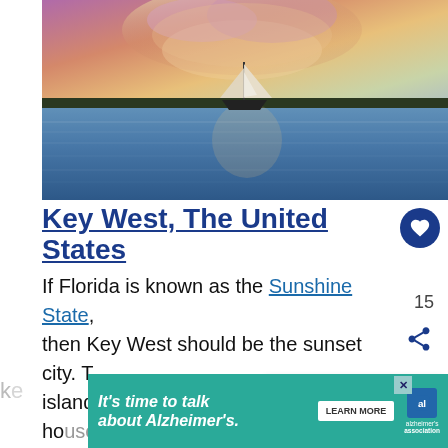[Figure (photo): Sailboat on calm water at sunset with colorful pink, orange and purple sky. Treeline silhouette visible on horizon.]
Key West, The United States
If Florida is known as the Sunshine State, then Key West should be the sunset city. The island city is famous for pastel-hued houses that mimic the colours of the skies at...
[Figure (screenshot): What's Next widget showing '170 Bucket List Ideas fo...' with thumbnail image]
[Figure (screenshot): Advertisement banner: It's time to talk about Alzheimer's. LEARN MORE. Alzheimer's association logo.]